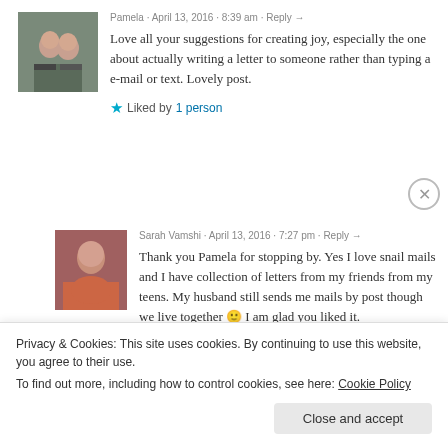Pamela · April 13, 2016 · 8:39 am · Reply →
Love all your suggestions for creating joy, especially the one about actually writing a letter to someone rather than typing a e-mail or text. Lovely post.
★ Liked by 1 person
Sarah Vamshi · April 13, 2016 · 7:27 pm · Reply →
Thank you Pamela for stopping by. Yes I love snail mails and I have collection of letters from my friends from my teens. My husband still sends me mails by post though we live together 🙂 I am glad you liked it.
Privacy & Cookies: This site uses cookies. By continuing to use this website, you agree to their use.
To find out more, including how to control cookies, see here: Cookie Policy
Close and accept